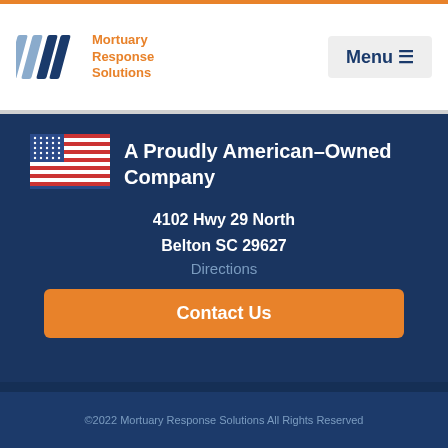Mortuary Response Solutions — Menu
[Figure (logo): American flag icon]
A Proudly American-Owned Company
4102 Hwy 29 North
Belton SC 29627
Directions
Contact Us
©2022 Mortuary Response Solutions All Rights Reserved